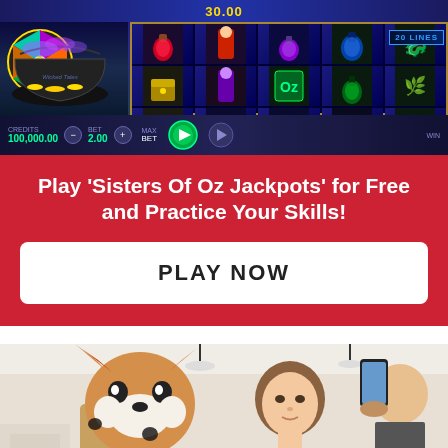[Figure (screenshot): Screenshot of 'Sisters Of Oz Jackpots' slot game showing reels with potion bottles and witch symbols, credits 100,000.00, bet 2.00, 20 lines, total 30.00]
Play 'Sisters Of Oz Jackpots' for Free and Practice Your Skills!
PLAY NOW
[Figure (photo): Photo of a person posing with a fox mascot costume head in what appears to be an indoor setting, another person visible in background with phone]